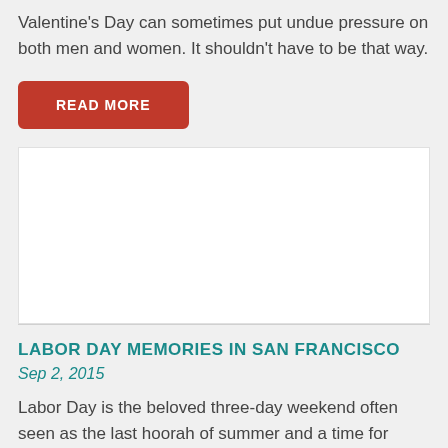Valentine's Day can sometimes put undue pressure on both men and women. It shouldn't have to be that way.
[Figure (other): A red 'READ MORE' button with rounded corners and white uppercase text]
[Figure (photo): A white rectangular image placeholder with light gray border]
LABOR DAY MEMORIES IN SAN FRANCISCO
Sep 2, 2015
Labor Day is the beloved three-day weekend often seen as the last hoorah of summer and a time for